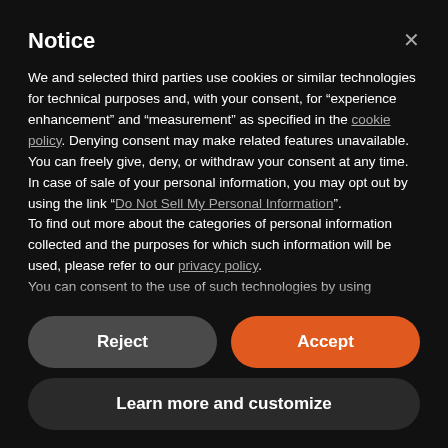Notice
We and selected third parties use cookies or similar technologies for technical purposes and, with your consent, for “experience enhancement” and “measurement” as specified in the cookie policy. Denying consent may make related features unavailable.
You can freely give, deny, or withdraw your consent at any time.
In case of sale of your personal information, you may opt out by using the link “Do Not Sell My Personal Information”.
To find out more about the categories of personal information collected and the purposes for which such information will be used, please refer to our privacy policy.
You can consent to the use of such technologies by using
Reject
Accept
Learn more and customize